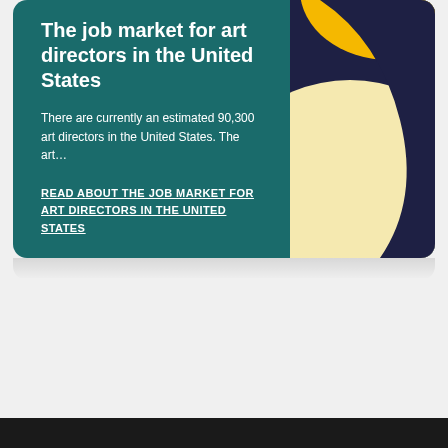The job market for art directors in the United States
There are currently an estimated 90,300 art directors in the United States. The art…
READ ABOUT THE JOB MARKET FOR ART DIRECTORS IN THE UNITED STATES
[Figure (illustration): Colorful stylized toucan bird illustration with yellow beak, orange-red accent, cream-colored body section, and dark navy background, partially visible on the right side of the card]